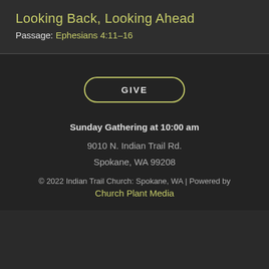Looking Back, Looking Ahead
Passage: Ephesians 4:11–16
GIVE
Sunday Gathering at 10:00 am
9010 N. Indian Trail Rd.
Spokane, WA 99208
© 2022 Indian Trail Church: Spokane, WA | Powered by
Church Plant Media